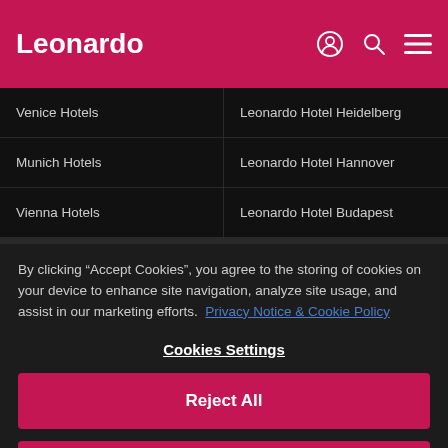Leonardo
Venice Hotels
Leonardo Hotel Heidelberg
Munich Hotels
Leonardo Hotel Hannover
Vienna Hotels
Leonardo Hotel Budapest
By clicking “Accept Cookies”, you agree to the storing of cookies on your device to enhance site navigation, analyze site usage, and assist in our marketing efforts. Privacy Notice & Cookie Policy
Cookies Settings
Reject All
Accept All Cookies